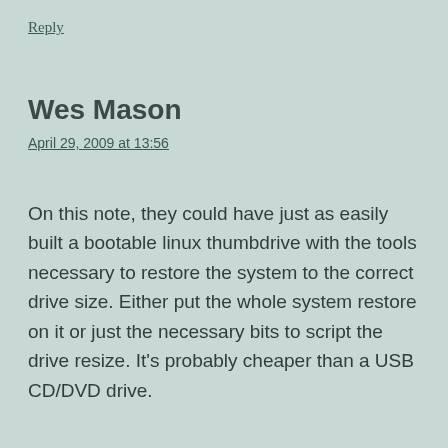Reply
Wes Mason
April 29, 2009 at 13:56
On this note, they could have just as easily built a bootable linux thumbdrive with the tools necessary to restore the system to the correct drive size. Either put the whole system restore on it or just the necessary bits to script the drive resize. It's probably cheaper than a USB CD/DVD drive.